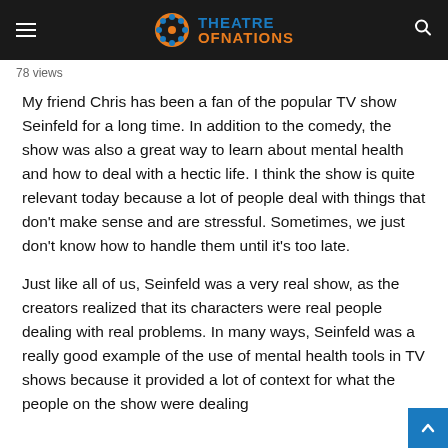Theatre of Nations
78 views
My friend Chris has been a fan of the popular TV show Seinfeld for a long time. In addition to the comedy, the show was also a great way to learn about mental health and how to deal with a hectic life. I think the show is quite relevant today because a lot of people deal with things that don't make sense and are stressful. Sometimes, we just don't know how to handle them until it's too late.
Just like all of us, Seinfeld was a very real show, as the creators realized that its characters were real people dealing with real problems. In many ways, Seinfeld was a really good example of the use of mental health tools in TV shows because it provided a lot of context for what the people on the show were dealing